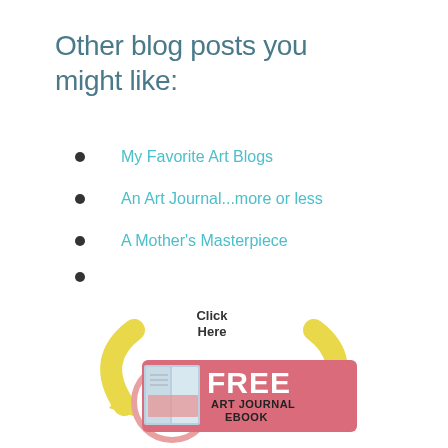Other blog posts you might like:
My Favorite Art Blogs
An Art Journal...more or less
A Mother's Masterpiece
[Figure (infographic): Promotional banner with two yellow curved arrows pointing to a pink rectangular banner reading 'FREE ART JOURNAL EBOOK' with a book icon and a 'Click Here' label above.]